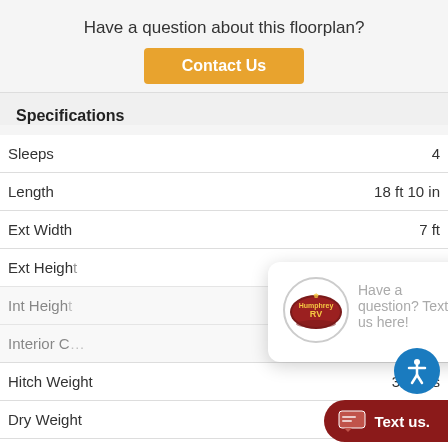Have a question about this floorplan?
Contact Us
Specifications
| Specification | Value |
| --- | --- |
| Sleeps | 4 |
| Length | 18 ft 10 in |
| Ext Width | 7 ft |
| Ext Height | 10 ft 4 in |
| Int Height |  |
| Interior C |  |
| Hitch Weight | 360 lbs |
| Dry Weight | 26__ |
| Cargo Weight | 1268 lbs |
[Figure (logo): Humphrey RV logo inside a circle, used in chat popup]
Have a question? Text us here!